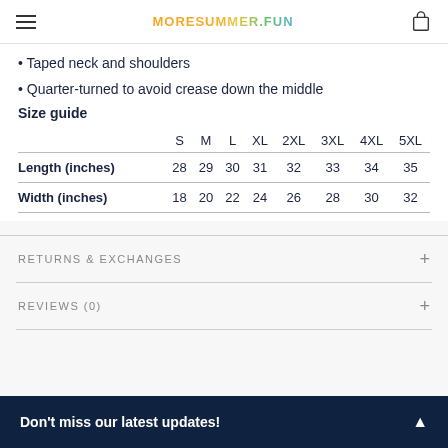MORESUMMER.FUN
Taped neck and shoulders
Quarter-turned to avoid crease down the middle
Size guide
|  | S | M | L | XL | 2XL | 3XL | 4XL | 5XL |
| --- | --- | --- | --- | --- | --- | --- | --- | --- |
| Length (inches) | 28 | 29 | 30 | 31 | 32 | 33 | 34 | 35 |
| Width (inches) | 18 | 20 | 22 | 24 | 26 | 28 | 30 | 32 |
RETURNS & EXCHANGES
REVIEWS (0)
Don't miss our latest updates!